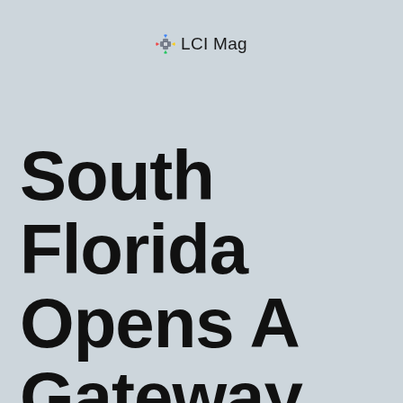LCI Mag
South Florida Opens A Gateway To A Food Fiesta